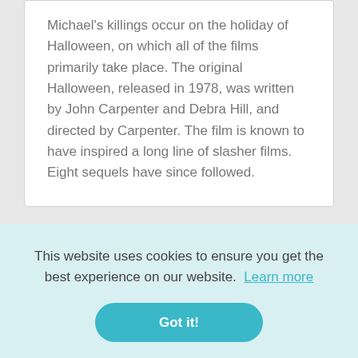Michael's killings occur on the holiday of Halloween, on which all of the films primarily take place. The original Halloween, released in 1978, was written by John Carpenter and Debra Hill, and directed by Carpenter. The film is known to have inspired a long line of slasher films. Eight sequels have since followed.
This website uses cookies to ensure you get the best experience on our website. Learn more
Got it!